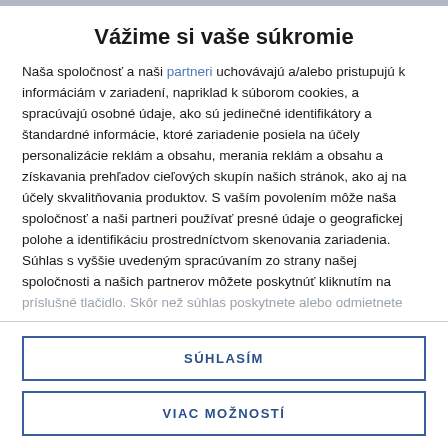Vážime si vaše súkromie
Naša spoločnosť a naši partneri uchovávajú a/alebo pristupujú k informáciám v zariadení, napriklad k súborom cookies, a spracúvajú osobné údaje, ako sú jedinečné identifikátory a štandardné informácie, ktoré zariadenie posiela na účely personalizácie reklám a obsahu, merania reklám a obsahu a získavania prehľadov cieľových skupín našich stránok, ako aj na účely skvalitňovania produktov. S vaším povolením môže naša spoločnosť a naši partneri používať presné údaje o geografickej polohe a identifikáciu prostredníctvom skenovania zariadenia. Súhlas s vyššie uvedeným spracúvaním zo strany našej spoločnosti a našich partnerov môžete poskytnúť kliknutím na príslušné tlačidlo. Skôr než súhlas poskytnete alebo odmietnete
SÚHLASÍM
VIAC MOŽNOSTÍ